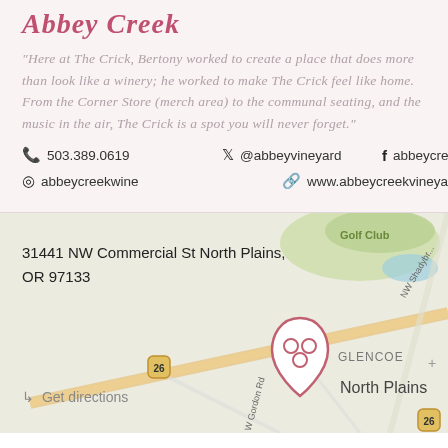Abbey Creek
"Here at The Crick, Bertony worked to create a place that does more than look like a winery; he worked to make The Crick feel like home. From the Corner Store (merch area) to the communal seating, and the music in the air, The Crick is a spot you will never forget."
503.389.0619  @abbeyvineyard  abbeycreekwine
abbeycreekwine  www.abbeycreekvineyard.com
31441 NW Commercial St North Plains, OR 97133
↳ Get directions
[Figure (map): Map showing location of Abbey Creek winery near North Plains, Oregon, with a branded map pin icon over the North Plains/Glencoe area. Route 26 visible. Golf Club label in upper right.]